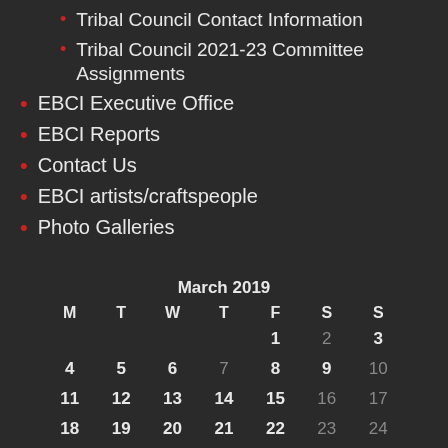Tribal Council Contact Information
Tribal Council 2021-23 Committee Assignments
EBCI Executive Office
EBCI Reports
Contact Us
EBCI artists/craftspeople
Photo Galleries
| M | T | W | T | F | S | S |
| --- | --- | --- | --- | --- | --- | --- |
|  |  |  |  | 1 | 2 | 3 |
| 4 | 5 | 6 | 7 | 8 | 9 | 10 |
| 11 | 12 | 13 | 14 | 15 | 16 | 17 |
| 18 | 19 | 20 | 21 | 22 | 23 | 24 |